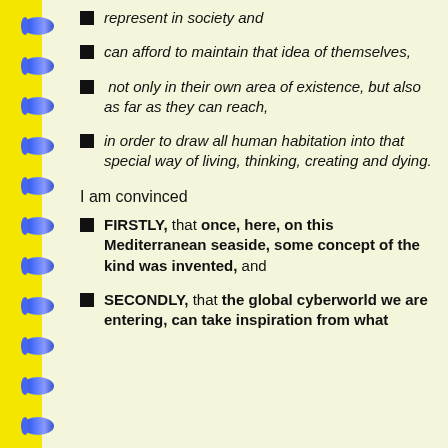represent in society and
can afford to maintain that idea of themselves,
not only in their own area of existence, but also as far as they can reach,
in order to draw all human habitation into that special way of living, thinking, creating and dying.
I am convinced
FIRSTLY, that once, here, on this Mediterranean seaside, some concept of the kind was invented, and
SECONDLY, that the global cyberworld we are entering, can take inspiration from what